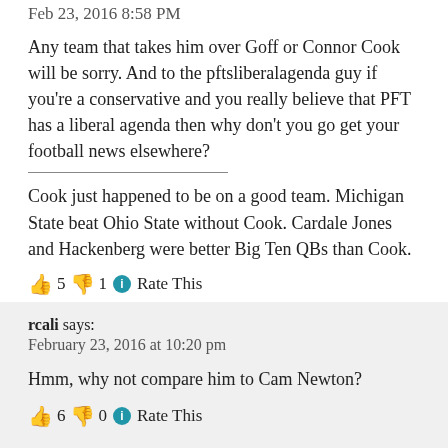Feb 23, 2016 8:58 PM
Any team that takes him over Goff or Connor Cook will be sorry. And to the pftsliberalagenda guy if you're a conservative and you really believe that PFT has a liberal agenda then why don't you go get your football news elsewhere?
Cook just happened to be on a good team. Michigan State beat Ohio State without Cook. Cardale Jones and Hackenberg were better Big Ten QBs than Cook.
👍 5 👎 1 ℹ Rate This
rcali says:
February 23, 2016 at 10:20 pm

Hmm, why not compare him to Cam Newton?

👍 6 👎 0 ℹ Rate This
Teddy BH20's House of Noodles says: